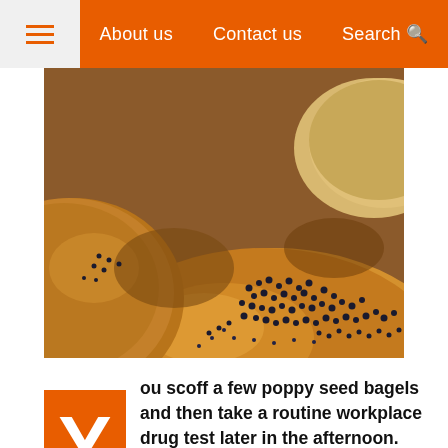≡   About us   Contact us   Search 🔍
[Figure (photo): Close-up photograph of poppy seed bagels with dark seeds scattered across golden-brown dough surfaces]
You scoff a few poppy seed bagels and then take a routine workplace drug test later in the afternoon. The result comes back positive for opiates, and you realise your choice of lunch